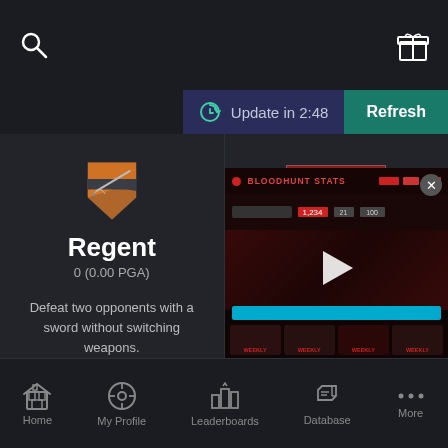[Figure (screenshot): Mobile gaming app screenshot showing achievement badges for a game. Top bar with search and gift icons. Update timer showing 2:48 with Refresh button. Left panel shows Regent badge (orange sword shield) with 0 (0.00 PGA) and description. Right panel shows Counter Attack badge (grey shield with crossed-out compass/star) partially obscured by a video thumbnail overlay. Bottom navigation bar with Home, My Profile, Leaderboards, Database, More icons.]